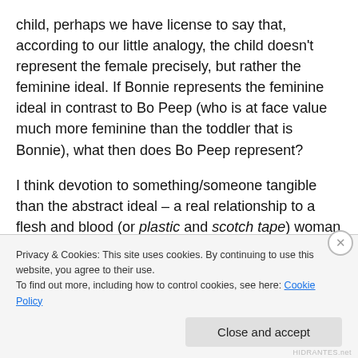child, perhaps we have license to say that, according to our little analogy, the child doesn't represent the female precisely, but rather the feminine ideal. If Bonnie represents the feminine ideal in contrast to Bo Peep (who is at face value much more feminine than the toddler that is Bonnie), what then does Bo Peep represent?
I think devotion to something/someone tangible than the abstract ideal – a real relationship to a flesh and blood (or plastic and scotch tape) woman perhaps? Giving up the porn and the chasing of a wild sex life, which is ultimately
Privacy & Cookies: This site uses cookies. By continuing to use this website, you agree to their use.
To find out more, including how to control cookies, see here: Cookie Policy